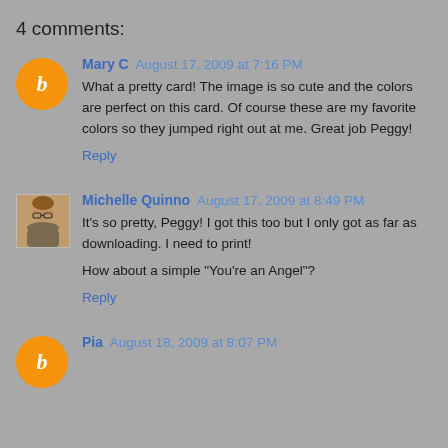4 comments:
Mary C August 17, 2009 at 7:16 PM
What a pretty card! The image is so cute and the colors are perfect on this card. Of course these are my favorite colors so they jumped right out at me. Great job Peggy!
Reply
Michelle Quinno August 17, 2009 at 8:49 PM
It's so pretty, Peggy! I got this too but I only got as far as downloading. I need to print!

How about a simple "You're an Angel"?
Reply
Pia August 18, 2009 at 8:07 PM